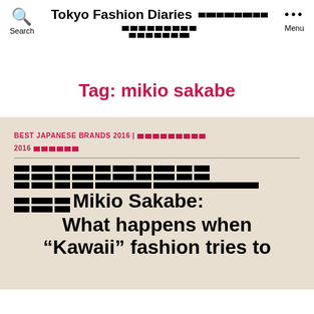Tokyo Fashion Diaries [redacted] Search [redacted] Menu
Tag: mikio sakabe
BEST JAPANESE BRANDS 2016 | [redacted] 2016[redacted]
[redacted] Mikio Sakabe: What happens when "Kawaii" fashion tries to [continues]